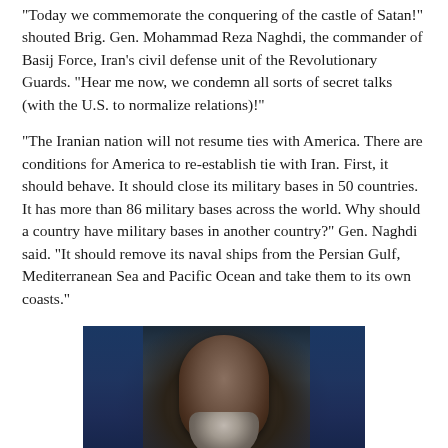“Today we commemorate the conquering of the castle of Satan!” shouted Brig. Gen. Mohammad Reza Naghdi, the commander of Basij Force, Iran’s civil defense unit of the Revolutionary Guards. “Hear me now, we condemn all sorts of secret talks (with the U.S. to normalize relations)!”
“The Iranian nation will not resume ties with America. There are conditions for America to re-establish tie with Iran. First, it should behave. It should close its military bases in 50 countries. It has more than 86 military bases across the world. Why should a country have military bases in another country?” Gen. Naghdi said. “It should remove its naval ships from the Persian Gulf, Mediterranean Sea and Pacific Ocean and take them to its own coasts.”
[Figure (photo): Photograph of Brig. Gen. Mohammad Reza Naghdi, a middle-aged man with grey-streaked hair and a grey beard, wearing dark clothing, speaking into a microphone. Blue background panels visible on either side.]